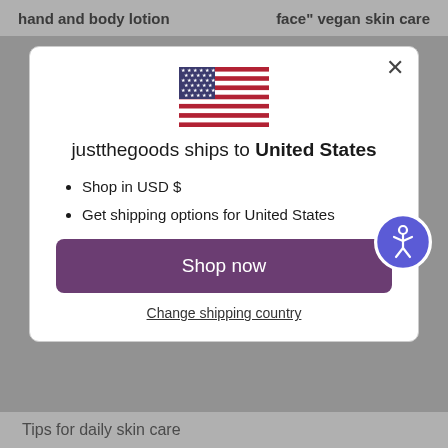hand and body lotion   face" vegan skin care
[Figure (illustration): Modal dialog popup showing US flag, shipping info for United States, list items about USD and shipping options, a purple Shop now button, and a Change shipping country link. An accessibility badge is shown at bottom right of modal.]
justthegoods ships to United States
Shop in USD $
Get shipping options for United States
Shop now
Change shipping country
Tips for daily skin care